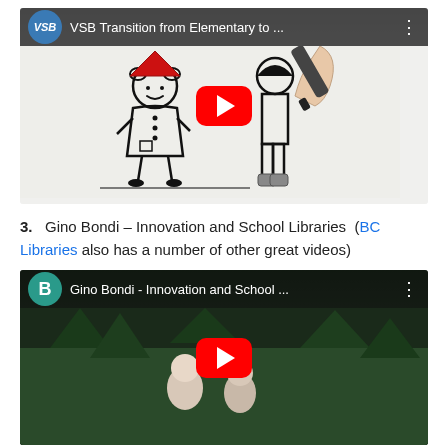[Figure (screenshot): YouTube video thumbnail for 'VSB Transition from Elementary to ...' showing a hand drawing stick figure children with markers on white paper, with a red YouTube play button overlay and VSB logo in top bar]
3.   Gino Bondi – Innovation and School Libraries  (BC Libraries also has a number of other great videos)
[Figure (screenshot): YouTube video thumbnail for 'Gino Bondi - Innovation and School ...' showing two teenagers outdoors in nature, with a red YouTube play button overlay and B (green circle) logo in top bar]